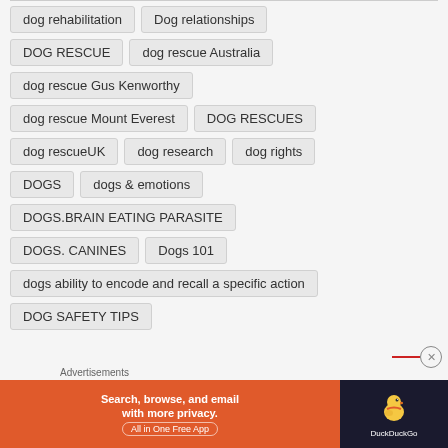dog rehabilitation
Dog relationships
DOG RESCUE
dog rescue Australia
dog rescue Gus Kenworthy
dog rescue Mount Everest
DOG RESCUES
dog rescueUK
dog research
dog rights
DOGS
dogs & emotions
DOGS.BRAIN EATING PARASITE
DOGS. CANINES
Dogs 101
dogs ability to encode and recall a specific action
DOG SAFETY TIPS
Advertisements
[Figure (screenshot): DuckDuckGo advertisement banner: orange section with text 'Search, browse, and email with more privacy. All in One Free App' and dark section with DuckDuckGo duck logo and 'DuckDuckGo' text]